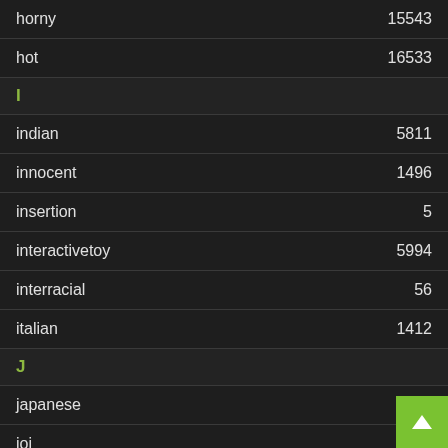horny 15543
hot 16533
I
indian 5811
innocent 1496
insertion 5
interactivetoy 5994
interracial 56
italian 1412
J
japanese 626
joi 9399
juicy 265
K
kinky
kissing